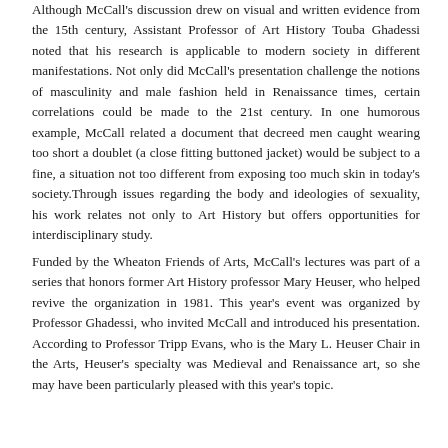Although McCall's discussion drew on visual and written evidence from the 15th century, Assistant Professor of Art History Touba Ghadessi noted that his research is applicable to modern society in different manifestations. Not only did McCall's presentation challenge the notions of masculinity and male fashion held in Renaissance times, certain correlations could be made to the 21st century. In one humorous example, McCall related a document that decreed men caught wearing too short a doublet (a close fitting buttoned jacket) would be subject to a fine, a situation not too different from exposing too much skin in today's society. Through issues regarding the body and ideologies of sexuality, his work relates not only to Art History but offers opportunities for interdisciplinary study.
Funded by the Wheaton Friends of Arts, McCall's lectures was part of a series that honors former Art History professor Mary Heuser, who helped revive the organization in 1981. This year's event was organized by Professor Ghadessi, who invited McCall and introduced his presentation. According to Professor Tripp Evans, who is the Mary L. Heuser Chair in the Arts, Heuser's specialty was Medieval and Renaissance art, so she may have been particularly pleased with this year's topic.